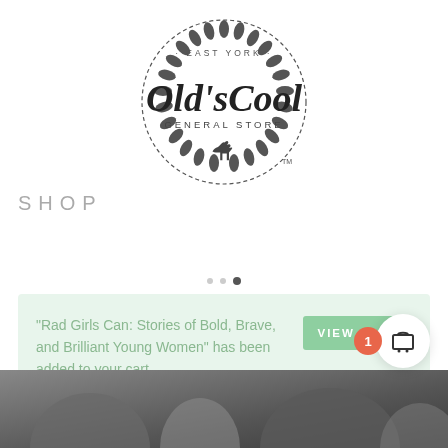[Figure (logo): Old's Cool General Store - East York logo, circular wreath design with script lettering and horse silhouette, with TM mark]
SHOP
"Rad Girls Can: Stories of Bold, Brave, and Brilliant Young Women" has been added to your cart.
[Figure (other): VIEW CART button and cart icon with badge showing 1]
[Figure (photo): Dark grayscale photograph at bottom of page, partially visible]